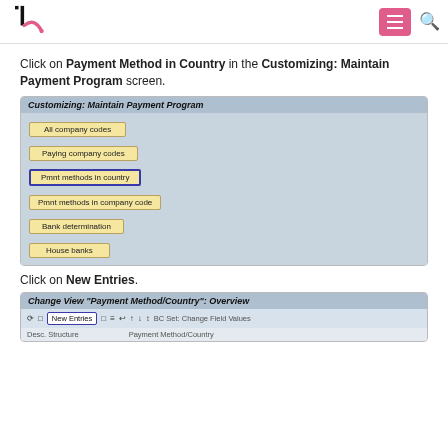tc logo, menu button, search icon
Click on Payment Method in Country in the Customizing: Maintain Payment Program screen.
[Figure (screenshot): Screenshot of SAP Customizing: Maintain Payment Program screen showing buttons: All company codes, Paying company codes, Pmnt methods in country (highlighted with blue border), Pmnt methods in company code, Bank determination, House banks]
Click on New Entries.
[Figure (screenshot): Screenshot of Change View Payment Method/Country: Overview screen showing toolbar with New Entries button highlighted with blue border, and column headers Desc. Structure and Payment Method/Country]